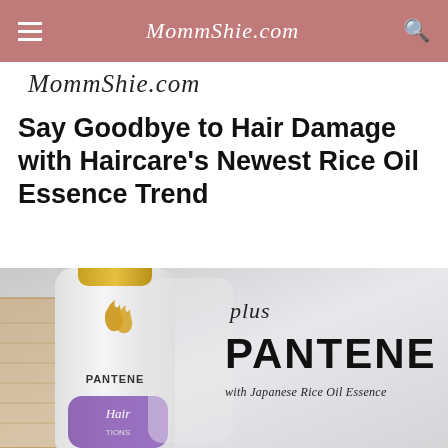MommShie.com
MommShie.com
Say Goodbye to Hair Damage with Haircare's Newest Rice Oil Essence Trend
[Figure (photo): Pantene hair care bottle with Japanese Rice Oil Essence product, showing the bottle with gold logo and purple label, alongside text overlay reading 'plus PANTENE with Japanese Rice Oil Essence']